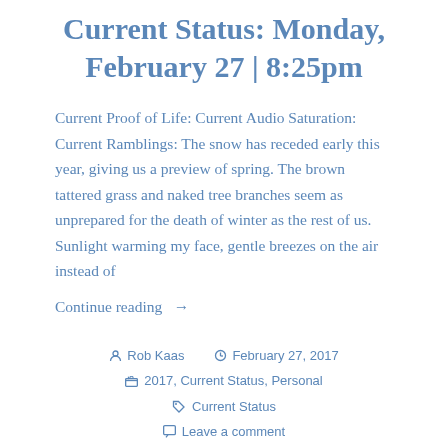Current Status: Monday, February 27 | 8:25pm
Current Proof of Life: Current Audio Saturation: Current Ramblings: The snow has receded early this year, giving us a preview of spring. The brown tattered grass and naked tree branches seem as unprepared for the death of winter as the rest of us. Sunlight warming my face, gentle breezes on the air instead of
Continue reading →
Rob Kaas  February 27, 2017  2017, Current Status, Personal  Current Status  Leave a comment